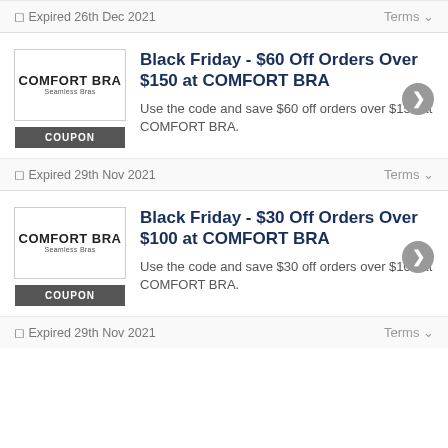Expired 26th Dec 2021
Terms
Black Friday - $60 Off Orders Over $150 at COMFORT BRA
Use the code and save $60 off orders over $150 at COMFORT BRA.
Expired 29th Nov 2021
Terms
Black Friday - $30 Off Orders Over $100 at COMFORT BRA
Use the code and save $30 off orders over $100 at COMFORT BRA.
Expired 29th Nov 2021
Terms